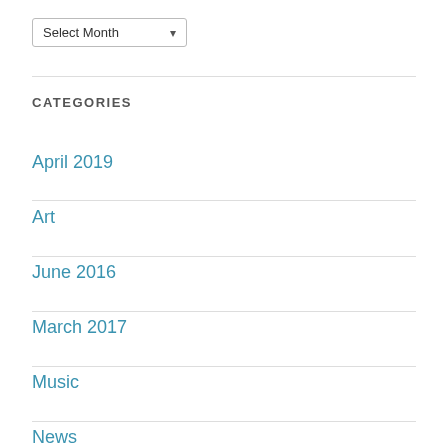Select Month
CATEGORIES
April 2019
Art
June 2016
March 2017
Music
News